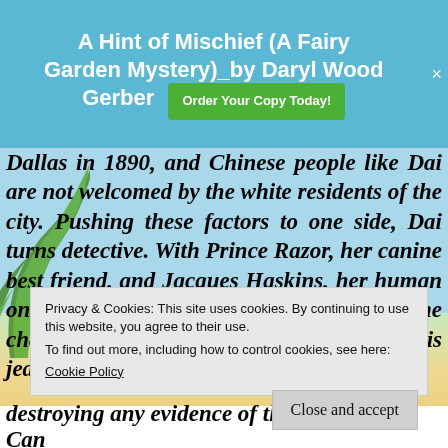A Hint of Mischief (A Fairy Garden Mystery)_by Daryl Wood Gerber
Dallas in 1890, and Chinese people like Dai are not welcomed by the white residents of the city. Pushing these factors to one side, Dai turns detective. With Prince Razor, her canine best friend, and Jacques Haskins, her human one, she knows she must take on the challenges posed by a spoiled popinjay, his jealous self-
Privacy & Cookies: This site uses cookies. By continuing to use this website, you agree to their use.
To find out more, including how to control cookies, see here:
Cookie Policy
Close and accept
destroying any evidence of their foul deed. Can